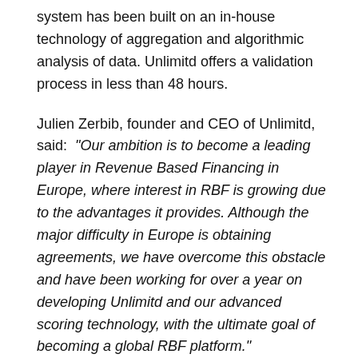system has been built on an in-house technology of aggregation and algorithmic analysis of data. Unlimitd offers a validation process in less than 48 hours.
Julien Zerbib, founder and CEO of Unlimitd, said: “Our ambition is to become a leading player in Revenue Based Financing in Europe, where interest in RBF is growing due to the advantages it provides. Although the major difficulty in Europe is obtaining agreements, we have overcome this obstacle and have been working for over a year on developing Unlimitd and our advanced scoring technology, with the ultimate goal of becoming a global RBF platform.”
Currently, the young company is financing companies with business models based on recurring revenues. They can benefit from financing for up to one year, which will be renewable depending on their performance.